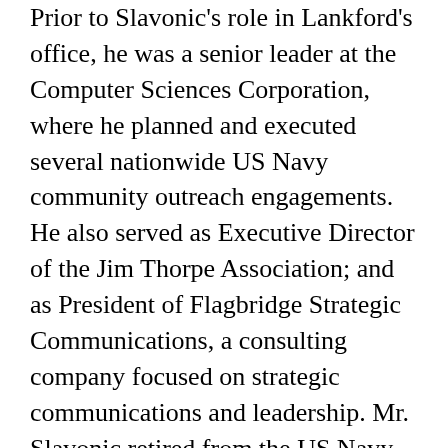Prior to Slavonic's role in Lankford's office, he was a senior leader at the Computer Sciences Corporation, where he planned and executed several nationwide US Navy community outreach engagements. He also served as Executive Director of the Jim Thorpe Association; and as President of Flagbridge Strategic Communications, a consulting company focused on strategic communications and leadership. Mr. Slavonic retired from the US Navy after a 34-year career, where he originally enlisted as a Seaman Recruit and, after repeatedly distinguishing himself, was promoted to the rank of Rear Admiral. During his Navy career, he held four command assignments, served in combat deployments to Vietnam, Operation Desert Shield/Storm, and Operation Iraqi Freedom, and was awarded numerous decorations including the Legion of Merit, Bronze Star, Presidential Unit Citation, and Combat Action Ribbon. Mr. Slavonic